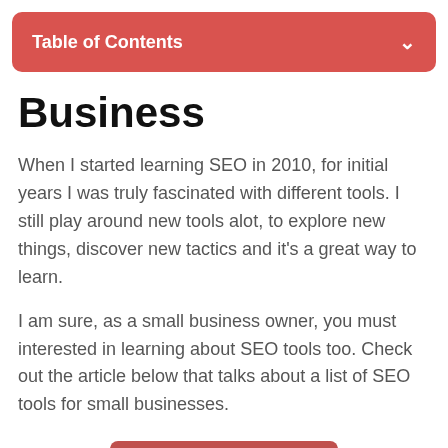Table of Contents
Business
When I started learning SEO in 2010, for initial years I was truly fascinated with different tools. I still play around new tools alot, to explore new things, discover new tactics and it's a great way to learn.
I am sure, as a small business owner, you must interested in learning about SEO tools too. Check out the article below that talks about a list of SEO tools for small businesses.
More details